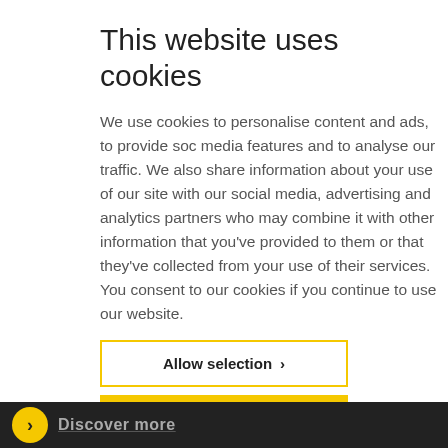This website uses cookies
We use cookies to personalise content and ads, to provide social media features and to analyse our traffic. We also share information about your use of our site with our social media, advertising and analytics partners who may combine it with other information that you've provided to them or that they've collected from your use of their services. You consent to our cookies if you continue to use our website.
Allow selection ›
Allow all cookies ›
✓ Necessary   □ Preferences   □ Statistics   Settings   □ Marketing